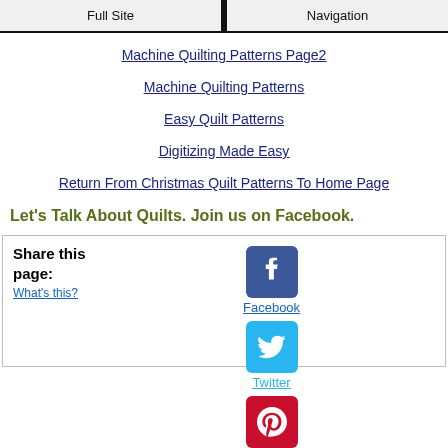Full Site | Navigation
Machine Quilting Patterns Page2
Machine Quilting Patterns
Easy Quilt Patterns
Digitizing Made Easy
Return From Christmas Quilt Patterns To Home Page
Let's Talk About Quilts. Join us on Facebook.
Share this page: What's this?
[Figure (other): Facebook icon (blue rounded square with white f)]
Facebook
[Figure (other): Twitter icon (cyan rounded square with white bird)]
Twitter
[Figure (other): Pinterest icon (red rounded square with white P)]